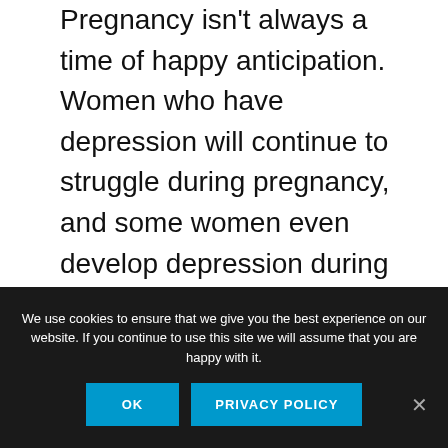Pregnancy isn't always a time of happy anticipation. Women who have depression will continue to struggle during pregnancy, and some women even develop depression during pregnancy. As many as 1 in 5 women may deal with depression in pregnancy, experts estimate.
If you struggle with what you think could be depression, or if you have been diagnosed with depression, talk to your healthcare provider about treatment during pregnancy. Deciding whether to use antidepressants...
We use cookies to ensure that we give you the best experience on our website. If you continue to use this site we will assume that you are happy with it.